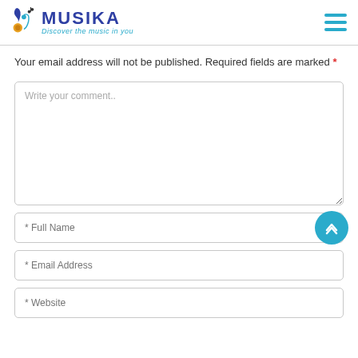MUSIKA — Discover the music in you
Your email address will not be published. Required fields are marked *
[Figure (screenshot): Comment text area input field with placeholder text 'Write your comment..']
[Figure (screenshot): Full Name input field with placeholder '* Full Name' and a cyan scroll-to-top button]
[Figure (screenshot): Email Address input field with placeholder '* Email Address']
[Figure (screenshot): Partially visible website input field at bottom]